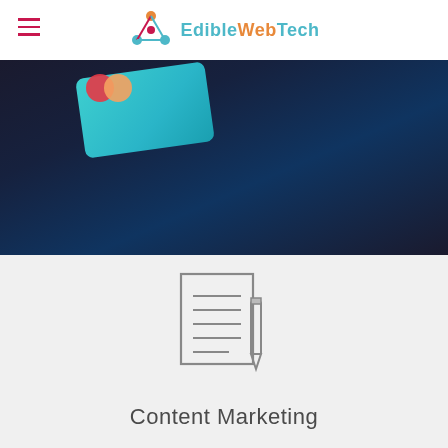EdibleWebTech
[Figure (photo): Dark background photo showing a hand holding a teal credit card with Mastercard logo]
[Figure (illustration): Content marketing icon showing a document with lines and a pencil]
Content Marketing